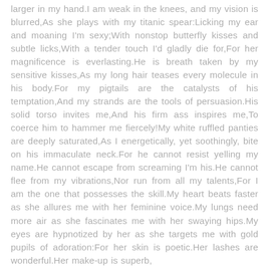larger in my hand.I am weak in the knees, and my vision is blurred,As she plays with my titanic spear:Licking my ear and moaning I'm sexy;With nonstop butterfly kisses and subtle licks,With a tender touch I'd gladly die for,For her magnificence is everlasting.He is breath taken by my sensitive kisses,As my long hair teases every molecule in his body.For my pigtails are the catalysts of his temptation,And my strands are the tools of persuasion.His solid torso invites me,And his firm ass inspires me,To coerce him to hammer me fiercely!My white ruffled panties are deeply saturated,As I energetically, yet soothingly, bite on his immaculate neck.For he cannot resist yelling my name.He cannot escape from screaming I'm his.He cannot flee from my vibrations,Nor run from all my talents,For I am the one that possesses the skill.My heart beats faster as she allures me with her feminine voice.My lungs need more air as she fascinates me with her swaying hips.My eyes are hypnotized by her as she targets me with gold pupils of adoration:For her skin is poetic.Her lashes are wonderful.Her make-up is superb,